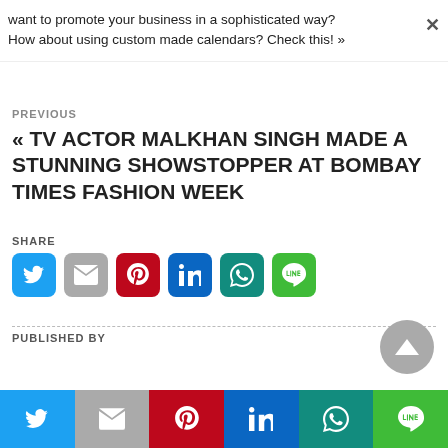want to promote your business in a sophisticated way? How about using custom made calendars? Check this! »
PREVIOUS
« TV ACTOR MALKHAN SINGH MADE A STUNNING SHOWSTOPPER AT BOMBAY TIMES FASHION WEEK
SHARE
[Figure (infographic): Social share buttons: Twitter, Gmail, Pinterest, LinkedIn, WhatsApp, Line]
PUBLISHED BY
[Figure (other): Scroll to top button (upward triangle arrow on grey circle)]
[Figure (infographic): Bottom social share bar: Twitter, Gmail, Pinterest, LinkedIn, WhatsApp, Line]